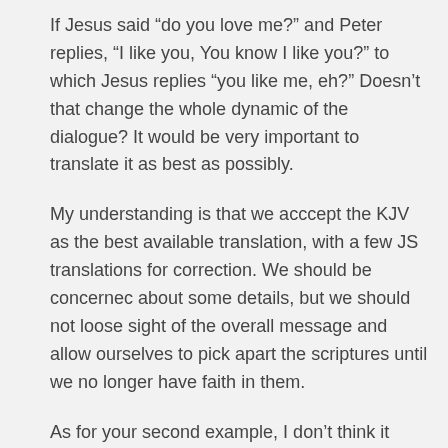If Jesus said “do you love me?” and Peter replies, “I like you, You know I like you?” to which Jesus replies “you like me, eh?” Doesn’t that change the whole dynamic of the dialogue? It would be very important to translate it as best as possibly.
My understanding is that we acccept the KJV as the best available translation, with a few JS translations for correction. We should be concernec about some details, but we should not loose sight of the overall message and allow ourselves to pick apart the scriptures until we no longer have faith in them.
As for your second example, I don’t think it matters that the detail of her name was left out. Does it matter that we know who she was or only that she did a good work. The ommission of her name could be that the